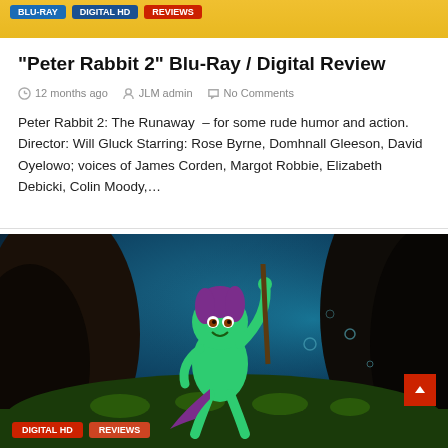[Figure (screenshot): Top strip with colored navigation tags: BLU-RAY, DIGITAL HD, REVIEWS on a yellow/orange background]
“Peter Rabbit 2” Blu-Ray / Digital Review
12 months ago   JLM admin   No Comments
Peter Rabbit 2: The Runaway – for some rude humor and action. Director: Will Gluck Starring: Rose Byrne, Domhnall Gleeson, David Oyelowo; voices of James Corden, Margot Robbie, Elizabeth Debicki, Colin Moody,…
[Figure (screenshot): Animation still from Pixar's Luca showing a green sea creature/lizard character with purple hair climbing on underwater rocks, with DIGITAL HD and REVIEWS tags overlaid at bottom]